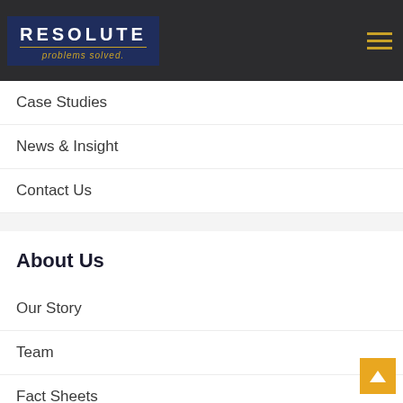Quick Links
[Figure (logo): Resolute logo with dark navy background, white RESOLUTE text and gold 'problems solved.' tagline]
Services
Case Studies
News & Insight
Contact Us
About Us
Our Story
Team
Fact Sheets
Industries